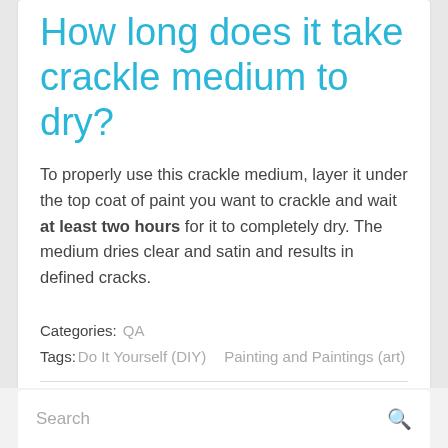How long does it take crackle medium to dry?
To properly use this crackle medium, layer it under the top coat of paint you want to crackle and wait at least two hours for it to completely dry. The medium dries clear and satin and results in defined cracks.
Categories: QA
Tags: Do It Yourself (DIY)   Painting and Paintings (art)
Previous post   Next post
Search